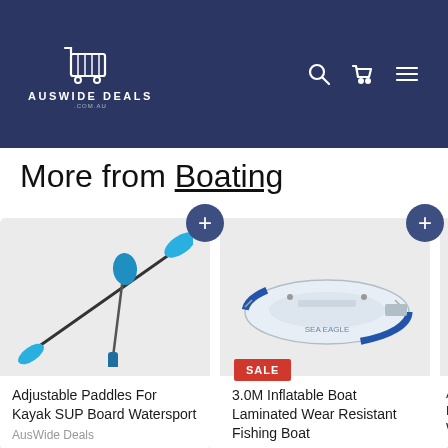[Figure (logo): Auswide Deals shopping cart logo with text 'AUSWIDE DEALS .COM.AU' on dark navy background with search, cart, and hamburger menu icons]
More from Boating
[Figure (photo): Adjustable Paddles For Kayak SUP Board Watersport - two blue kayak paddles on light grey background]
Adjustable Paddles For Kayak SUP Board Watersport
AusWide Deals
[Figure (photo): 3.0M Inflatable Boat Laminated Wear Resistant Fishing Boat - white and blue inflatable boat on light grey background with SALE badge]
3.0M Inflatable Boat Laminated Wear Resistant Fishing Boat
AusWide Deals
[Figure (photo): Partial view of third product - Adjustable item for Ka... Watersport, cropped at right edge]
Adju... For Ka... Water...
AusWid...